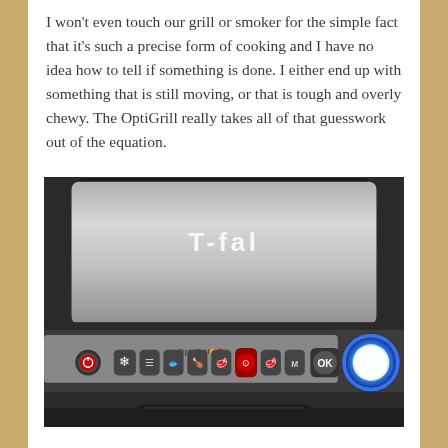I won't even touch our grill or smoker for the simple fact that it's such a precise form of cooking and I have no idea how to tell if something is done. I either end up with something that is still moving, or that is tough and overly chewy. The OptiGrill really takes all of that guesswork out of the equation.
[Figure (photo): Close-up photo of a T-fal OptiGrill electric indoor grill showing the stainless steel lid with the T-fal logo, and the control panel below with the OptiGrill branding, power button, cooking mode buttons, OK button, and a blue-lit dial on the right.]